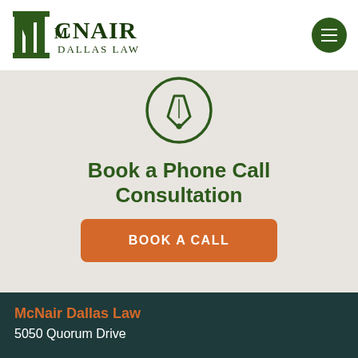[Figure (logo): McNair Dallas Law logo with stylized M and columns icon in dark green, with text MCNAIR DALLAS LAW]
[Figure (illustration): Dark green circular icon with a pen/quill nib symbol inside]
Book a Phone Call Consultation
BOOK A CALL
McNair Dallas Law
5050 Quorum Drive